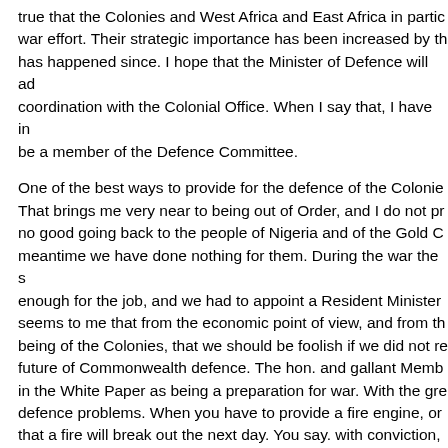true that the Colonies and West Africa and East Africa in partic... war effort. Their strategic importance has been increased by th... has happened since. I hope that the Minister of Defence will ac... coordination with the Colonial Office. When I say that, I have i... be a member of the Defence Committee.
One of the best ways to provide for the defence of the Colonie... That brings me very near to being out of Order, and I do not pr... no good going back to the people of Nigeria and of the Gold C... meantime we have done nothing for them. During the war the ... enough for the job, and we had to appoint a Resident Minister... seems to me that from the economic point of view, and from th... being of the Colonies, that we should be foolish if we did not re... future of Commonwealth defence. The hon. and gallant Memb... in the White Paper as being a preparation for war. With the gre... defence problems. When you have to provide a fire engine, or... that a fire will break out the next day. You say. with conviction,... fire. Our approach to defence policy should be on similar lines...
I believe our defence policy must make its contribution through... at variance with some of my hon. Friends on this side who loo...